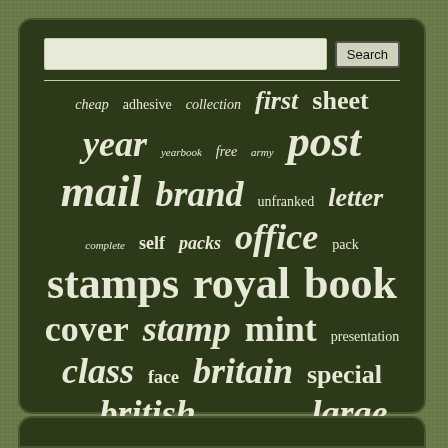[Figure (screenshot): Tag cloud / word cloud on a dark green background inside a rounded rectangle panel. A search bar with 'Search' button is at the top. Below a horizontal divider, keyword tags of varying sizes appear: cheap, adhesive, collection, first, sheet, year, yearbook, free, army, post, mail, brand, unfranked, letter, complete, self, packs, office, pack, stamps, royal, book, cover, stamp, mint, presentation, class, face, britain, special, great, british, postage, rare, large.]